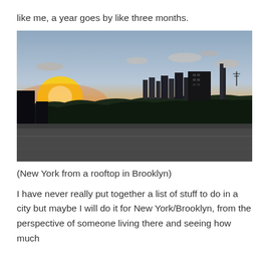like me, a year goes by like three months.
[Figure (photo): Sunset view of the New York City skyline photographed from a rooftop in Brooklyn. The sky is orange and golden near the horizon with a large sun visible on the left side. Dark silhouettes of trees, buildings and the Manhattan skyline with skyscrapers are visible in the middle ground. The foreground shows a flat grey rooftop surface.]
(New York from a rooftop in Brooklyn)
I have never really put together a list of stuff to do in a city but maybe I will do it for New York/Brooklyn, from the perspective of someone living there and seeing how much